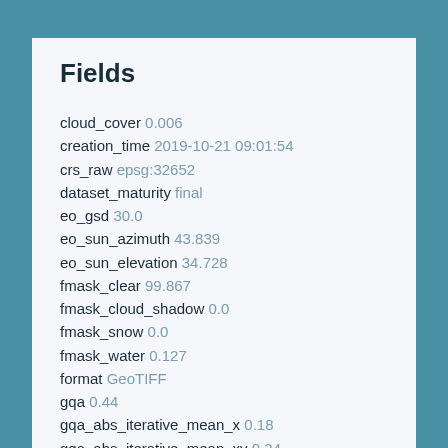Fields
cloud_cover 0.006
creation_time 2019-10-21 09:01:54
crs_raw epsg:32652
dataset_maturity final
eo_gsd 30.0
eo_sun_azimuth 43.839
eo_sun_elevation 34.728
fmask_clear 99.867
fmask_cloud_shadow 0.0
fmask_snow 0.0
fmask_water 0.127
format GeoTIFF
gqa 0.44
gqa_abs_iterative_mean_x 0.18
gqa_abs_iterative_mean_xy 0.24
gqa_abs_iterative_mean_y 0.15